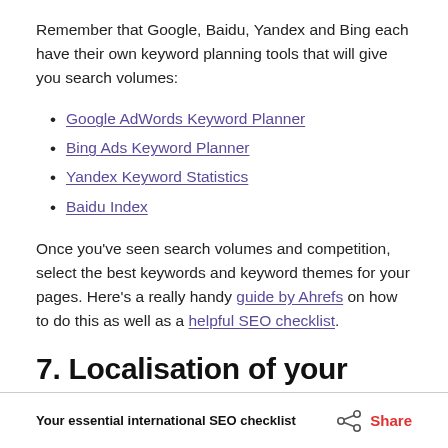Remember that Google, Baidu, Yandex and Bing each have their own keyword planning tools that will give you search volumes:
Google AdWords Keyword Planner
Bing Ads Keyword Planner
Yandex Keyword Statistics
Baidu Index
Once you've seen search volumes and competition, select the best keywords and keyword themes for your pages. Here's a really handy guide by Ahrefs on how to do this as well as a helpful SEO checklist.
7. Localisation of your content
Your essential international SEO checklist   Share